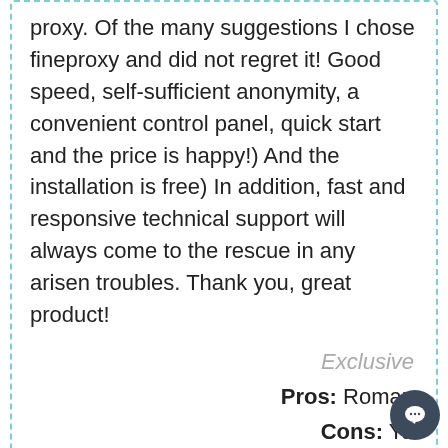proxy. Of the many suggestions I chose fineproxy and did not regret it! Good speed, self-sufficient anonymity, a convenient control panel, quick start and the price is happy!) And the installation is free) In addition, fast and responsive technical support will always come to the rescue in any arisen troubles. Thank you, great product!
Exclusive
Pros: Roman
Cons: Ya
[Figure (other): Five gold stars rating]
[Figure (other): Five black stars rating]
Роман Ярцев
Proxy servers are popular now, everyone is interested and prices are different. I also